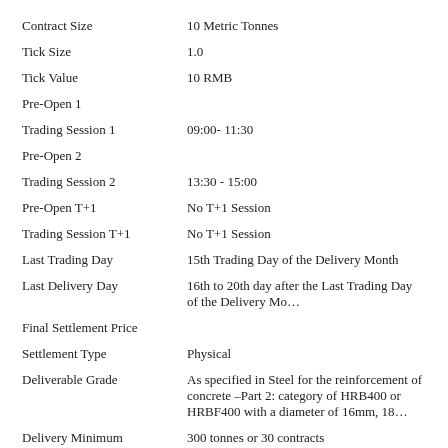| Field | Value |
| --- | --- |
| Contract Size | 10 Metric Tonnes |
| Tick Size | 1.0 |
| Tick Value | 10 RMB |
| Pre-Open 1 |  |
| Trading Session 1 | 09:00- 11:30 |
| Pre-Open 2 |  |
| Trading Session 2 | 13:30 - 15:00 |
| Pre-Open T+1 | No T+1 Session |
| Trading Session T+1 | No T+1 Session |
| Last Trading Day | 15th Trading Day of the Delivery Month |
| Last Delivery Day | 16th to 20th day after the Last Trading Day of the Delivery Mo... |
| Final Settlement Price |  |
| Settlement Type | Physical |
| Deliverable Grade | As specified in Steel for the reinforcement of concrete –Part 2: category of HRB400 or HRBF400 with a diameter of 16mm, 18... |
| Delivery Minimum | 300 tonnes or 30 contracts |